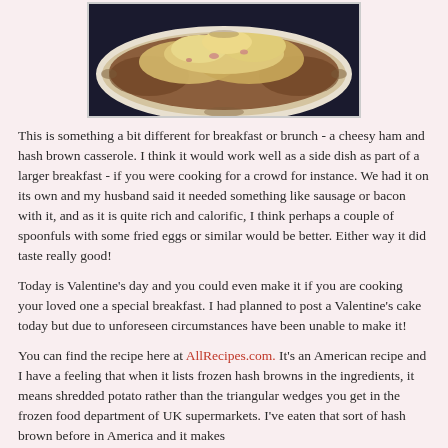[Figure (photo): A cheesy ham and hash brown casserole in a baking dish, photographed from above, showing a golden bubbly cheese topping.]
This is something a bit different for breakfast or brunch - a cheesy ham and hash brown casserole. I think it would work well as a side dish as part of a larger breakfast - if you were cooking for a crowd for instance. We had it on its own and my husband said it needed something like sausage or bacon with it, and as it is quite rich and calorific, I think perhaps a couple of spoonfuls with some fried eggs or similar would be better. Either way it did taste really good!
Today is Valentine's day and you could even make it if you are cooking your loved one a special breakfast. I had planned to post a Valentine's cake today but due to unforeseen circumstances have been unable to make it!
You can find the recipe here at AllRecipes.com. It's an American recipe and I have a feeling that when it lists frozen hash browns in the ingredients, it means shredded potato rather than the triangular wedges you get in the frozen food department of UK supermarkets. I've eaten that sort of hash brown before in America and it makes